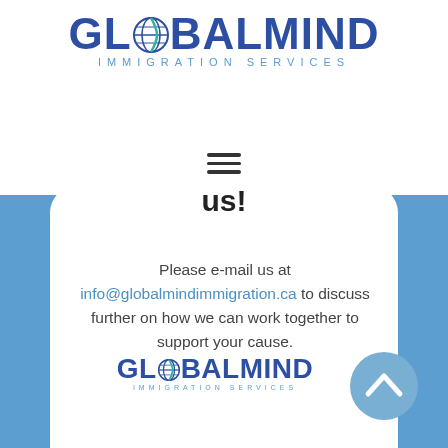[Figure (logo): GlobalMind Immigration Services logo with globe replacing the O, blue and teal colors]
[Figure (illustration): Hamburger menu icon (three horizontal lines) above bold 'us!' text]
Please e-mail us at info@globalmindimmigration.ca to discuss further on how we can work together to support your cause.
[Figure (logo): GlobalMind Immigration Services logo (smaller, bottom center)]
[Figure (logo): Blue circular chevron/arrow icon, bottom right]